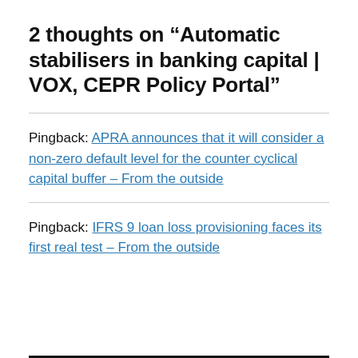2 thoughts on “Automatic stabilisers in banking capital | VOX, CEPR Policy Portal”
Pingback: APRA announces that it will consider a non-zero default level for the counter cyclical capital buffer – From the outside
Pingback: IFRS 9 loan loss provisioning faces its first real test – From the outside